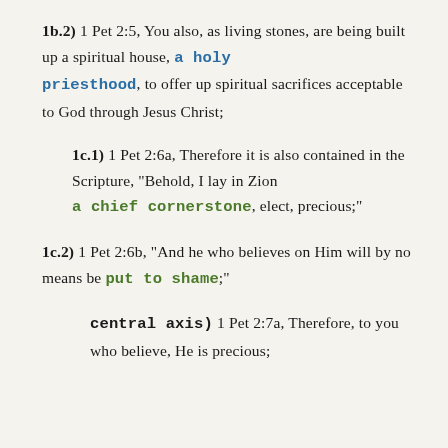1b.2) 1 Pet 2:5, You also, as living stones, are being built up a spiritual house, a holy priesthood, to offer up spiritual sacrifices acceptable to God through Jesus Christ;
1c.1) 1 Pet 2:6a, Therefore it is also contained in the Scripture, “Behold, I lay in Zion a chief cornerstone, elect, precious;”
1c.2) 1 Pet 2:6b, “And he who believes on Him will by no means be put to shame;”
central axis) 1 Pet 2:7a, Therefore, to you who believe, He is precious;